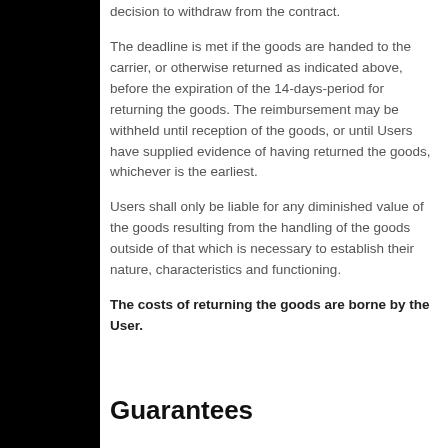decision to withdraw from the contract.
The deadline is met if the goods are handed to the carrier, or otherwise returned as indicated above, before the expiration of the 14-days-period for returning the goods. The reimbursement may be withheld until reception of the goods, or until Users have supplied evidence of having returned the goods, whichever is the earliest.
Users shall only be liable for any diminished value of the goods resulting from the handling of the goods outside of that which is necessary to establish their nature, characteristics and functioning.
The costs of returning the goods are borne by the User.
Guarantees